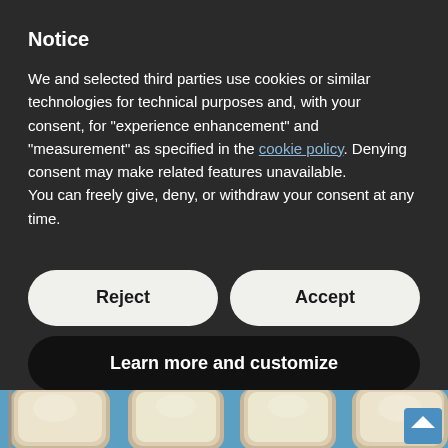Notice
We and selected third parties use cookies or similar technologies for technical purposes and, with your consent, for “experience enhancement” and “measurement” as specified in the cookie policy. Denying consent may make related features unavailable.
You can freely give, deny, or withdraw your consent at any time.
Reject
Accept
Learn more and customize
[Figure (photo): Close-up photograph of human teeth against a blue background, showing upper front teeth with natural enamel coloring]